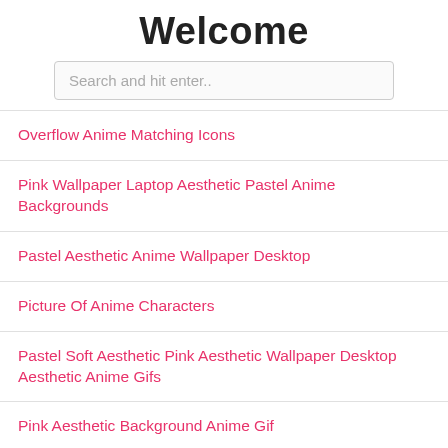Welcome
Search and hit enter..
Overflow Anime Matching Icons
Pink Wallpaper Laptop Aesthetic Pastel Anime Backgrounds
Pastel Aesthetic Anime Wallpaper Desktop
Picture Of Anime Characters
Pastel Soft Aesthetic Pink Aesthetic Wallpaper Desktop Aesthetic Anime Gifs
Pink Aesthetic Background Anime Gif
Pictures Of Anime Girls With Hoodies
Naruto Custom Black Anime Characters Male
Pastel Retro Anime Aesthetic Wallpaper Desktop
Pictures Of Anime People